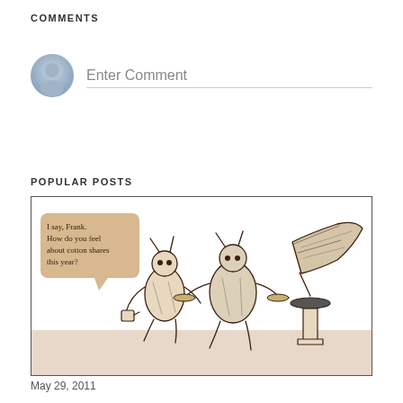COMMENTS
[Figure (illustration): User avatar placeholder icon — circular grey silhouette of a person]
Enter Comment
POPULAR POSTS
[Figure (illustration): Sketch illustration of three anthropomorphic insect/ant characters: one holding a cup, one playing cymbals, one playing a gramophone/phonograph. A speech bubble reads: 'I say, Frank. How do you feel about cotton shares this year?' The image has a sepia/brown tone with a tan ground area.]
May 29, 2011